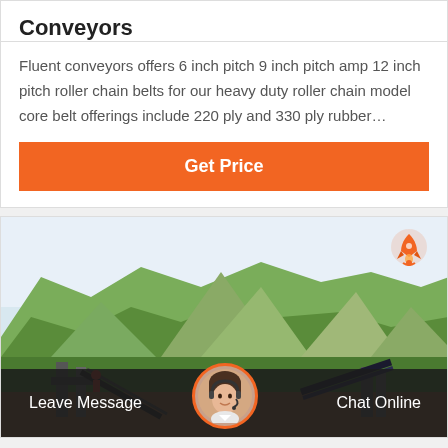Conveyors
Fluent conveyors offers 6 inch pitch 9 inch pitch amp 12 inch pitch roller chain belts for our heavy duty roller chain model core belt offerings include 220 ply and 330 ply rubber…
[Figure (other): Orange 'Get Price' button]
[Figure (photo): Outdoor industrial conveyor system with mountains and green landscape in background. Mining or quarry equipment with conveyor belts visible. A chat bar at the bottom with 'Leave Message' on the left, customer service avatar in the center, and 'Chat Online' on the right. Orange rocket icon visible in upper right of image.]